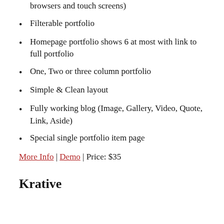browsers and touch screens)
Filterable portfolio
Homepage portfolio shows 6 at most with link to full portfolio
One, Two or three column portfolio
Simple & Clean layout
Fully working blog (Image, Gallery, Video, Quote, Link, Aside)
Special single portfolio item page
More Info | Demo | Price: $35
Krative